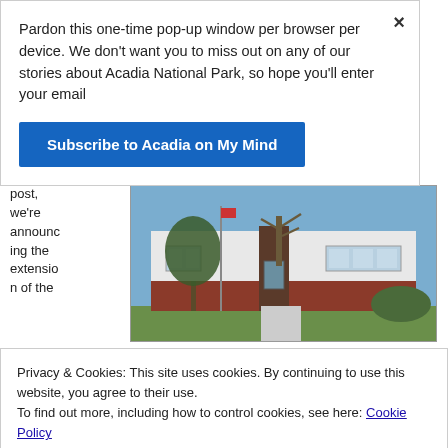Pardon this one-time pop-up window per browser per device. We don't want you to miss out on any of our stories about Acadia National Park, so hope you'll enter your email
Subscribe to Acadia on My Mind
post, we're announcing the extension of the
[Figure (photo): Exterior photo of a one-story library building with brick lower facade, white upper walls, trees in front, blue sky background]
First a one-room library when it opened on Nov. 11,
Jan. 1,
Privacy & Cookies: This site uses cookies. By continuing to use this website, you agree to their use.
To find out more, including how to control cookies, see here: Cookie Policy
Close and accept